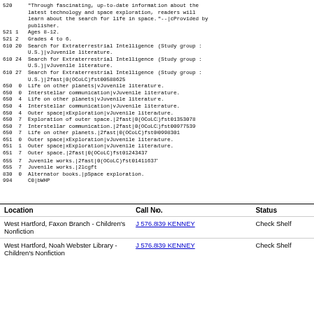520     "Through fascinating, up-to-date information about the latest technology and space exploration, readers will learn about the search for life in space."--|cProvided by publisher.
521 1   Ages 8-12.
521 2   Grades 4 to 6.
610 20  Search for Extraterrestrial Intelligence (Study group : U.S.)|vJuvenile literature.
610 24  Search for Extraterrestrial Intelligence (Study group : U.S.)|vJuvenile literature.
610 27  Search for Extraterrestrial Intelligence (Study group : U.S.)|2fast|0(OCoLC)fst00588625
650  0  Life on other planets|vJuvenile literature.
650  0  Interstellar communication|vJuvenile literature.
650  4  Life on other planets|vJuvenile literature.
650  4  Interstellar communication|vJuvenile literature.
650  4  Outer space|xExploration|vJuvenile literature.
650  7  Exploration of outer space.|2fast|0(OCoLC)fst01353078
650  7  Interstellar communication.|2fast|0(OCoLC)fst00977539
650  7  Life on other planets.|2fast|0(OCoLC)fst00998301
651  0  Outer space|xExploration|vJuvenile literature.
651  1  Outer space|xExploration|vJuvenile literature.
651  7  Outer space.|2fast|0(OCoLC)fst01243437
655  7  Juvenile works.|2fast|0(OCoLC)fst01411637
655  7  Juvenile works.|2lcgft
830  0  Alternator books.|pSpace exploration.
994     C0|bWHP
| Location | Call No. | Status |
| --- | --- | --- |
| West Hartford, Faxon Branch - Children's Nonfiction | J 576.839 KENNEY | Check Shelf |
| West Hartford, Noah Webster Library - Children's Nonfiction | J 576.839 KENNEY | Check Shelf |